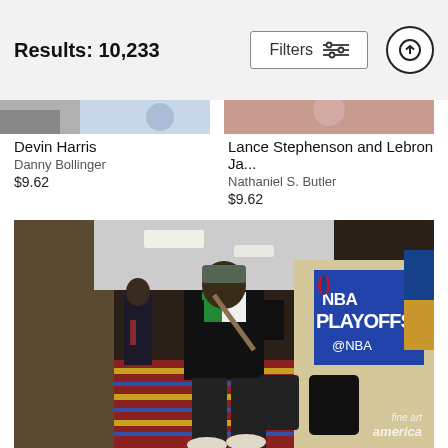Results: 10,233
Filters
[Figure (photo): Partially visible top of two sports photo cards — Devin Harris and Lance Stephenson and Lebron Ja...]
Devin Harris
Danny Bollinger
$9.62
Lance Stephenson and Lebron Ja...
Nathaniel S. Butler
$9.62
[Figure (photo): NBA Playoffs photo: A basketball player wearing a black tracksuit with green/white accents, carrying a bag, walking in an arena corridor. A blue NBA Playoffs banner with @NBA text hangs on the wall. Another person in a suit stands in the background.]
fine art america (watermark)